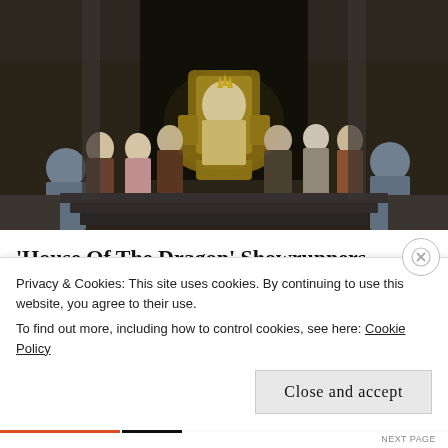[Figure (photo): A scene from 'House of the Dragon' showing a figure seated on an ornate golden throne surrounded by courtiers and guards in a grand hall decorated with a large dragon sigil crest.]
'House Of The Dragon' Showrunners - They Are The Only Survivors
Shadow and Act
Privacy & Cookies: This site uses cookies. By continuing to use this website, you agree to their use. To find out more, including how to control cookies, see here: Cookie Policy
Close and accept